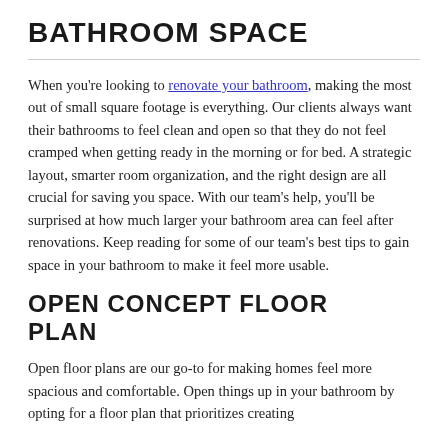BATHROOM SPACE
When you're looking to renovate your bathroom, making the most out of small square footage is everything. Our clients always want their bathrooms to feel clean and open so that they do not feel cramped when getting ready in the morning or for bed. A strategic layout, smarter room organization, and the right design are all crucial for saving you space. With our team's help, you'll be surprised at how much larger your bathroom area can feel after renovations. Keep reading for some of our team's best tips to gain space in your bathroom to make it feel more usable.
OPEN CONCEPT FLOOR PLAN
Open floor plans are our go-to for making homes feel more spacious and comfortable. Open things up in your bathroom by opting for a floor plan that prioritizes creating